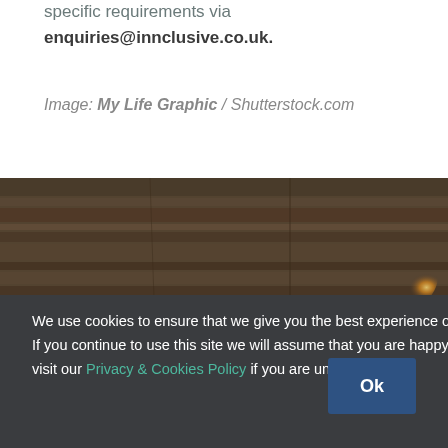specific requirements via enquiries@innclusive.co.uk.
Image: My Life Graphic / Shutterstock.com
[Figure (photo): Wood floor texture with warm light glow on the right side]
We use cookies to ensure that we give you the best experience on our website. If you continue to use this site we will assume that you are happy with it. Please visit our Privacy & Cookies Policy if you are unsure.